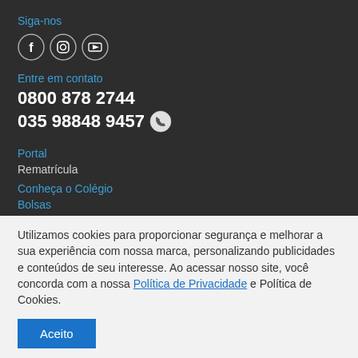Siga-nos
[Figure (illustration): Three social media icon circles: Facebook (f), Instagram (camera icon), YouTube (play icon)]
Entre em contato
0800 878 2744
035 98848 9457 [WhatsApp icon]
Portal
Rematrícula
Conheça o Colégio
Bolsas
Utilizamos cookies para proporcionar segurança e melhorar a sua experiência com nossa marca, personalizando publicidades e conteúdos de seu interesse. Ao acessar nosso site, você concorda com a nossa Política de Privacidade e Política de Cookies.
Aceito